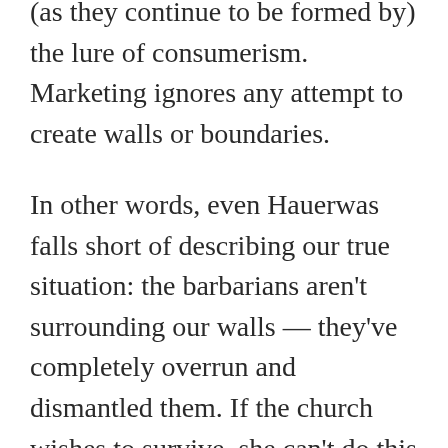(as they continue to be formed by) the lure of consumerism. Marketing ignores any attempt to create walls or boundaries.
In other words, even Hauerwas falls short of describing our true situation: the barbarians aren't surrounding our walls — they've completely overrun and dismantled them. If the church wishes to survive, she can't do this by trying to rebuild walls. The time for that is long past.